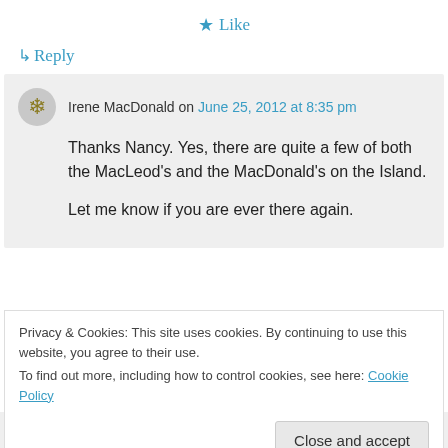★ Like
↳ Reply
Irene MacDonald on June 25, 2012 at 8:35 pm
Thanks Nancy. Yes, there are quite a few of both the MacLeod's and the MacDonald's on the Island.

Let me know if you are ever there again.
Privacy & Cookies: This site uses cookies. By continuing to use this website, you agree to their use. To find out more, including how to control cookies, see here: Cookie Policy
Close and accept
↳ Reply